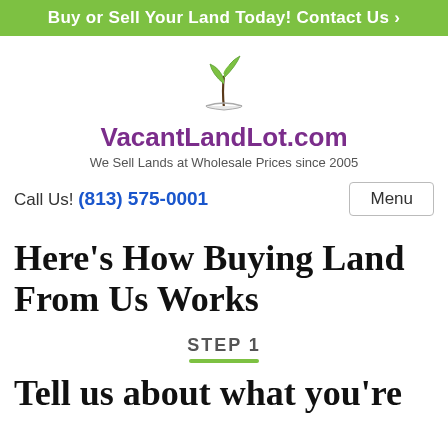Buy or Sell Your Land Today! Contact Us ›
[Figure (logo): Green plant/sprout logo for VacantLandLot.com]
VacantLandLot.com
We Sell Lands at Wholesale Prices since 2005
Call Us! (813) 575-0001
Here's How Buying Land From Us Works
STEP 1
Tell us about what you're